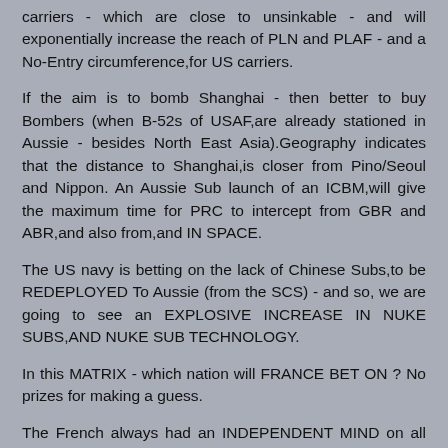carriers - which are close to unsinkable - and will exponentially increase the reach of PLN and PLAF - and a No-Entry circumference,for US carriers.
If the aim is to bomb Shanghai - then better to buy Bombers (when B-52s of USAF,are already stationed in Aussie - besides North East Asia).Geography indicates that the distance to Shanghai,is closer from Pino/Seoul and Nippon. An Aussie Sub launch of an ICBM,will give the maximum time for PRC to intercept from GBR and ABR,and also from,and IN SPACE.
The US navy is betting on the lack of Chinese Subs,to be REDEPLOYED To Aussie (from the SCS) - and so, we are going to see an EXPLOSIVE INCREASE IN NUKE SUBS,AND NUKE SUB TECHNOLOGY.
In this MATRIX - which nation will FRANCE BET ON ? No prizes for making a guess.
The French always had an INDEPENDENT MIND on all things - as a matter of Philosophy.EU SURVIVES ON